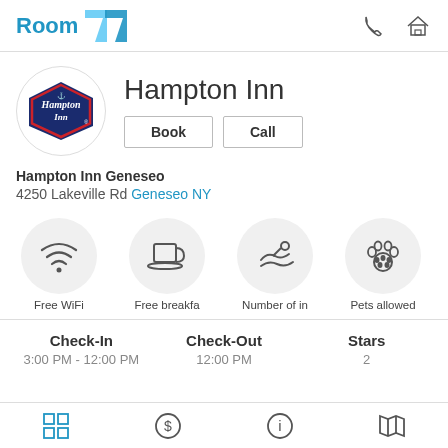Room 77
[Figure (logo): Hampton Inn logo in circular frame]
Hampton Inn
Book | Call
Hampton Inn Geneseo
4250 Lakeville Rd Geneseo NY
[Figure (infographic): Amenity icons: Free WiFi, Free breakfast, Number of indoor pools, Pets allowed]
| Check-In | Check-Out | Stars |
| --- | --- | --- |
| 3:00 PM - 12:00 PM | 12:00 PM | 2 |
Navigation icons: grid, dollar, info, map